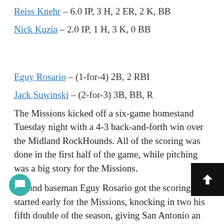Reiss Knehr – 6.0 IP, 3 H, 2 ER, 2 K, BB
Nick Kuzia – 2.0 IP, 1 H, 3 K, 0 BB
Eguy Rosario – (1-for-4) 2B, 2 RBI
Jack Suwinski – (2-for-3) 3B, BB, R
The Missions kicked off a six-game homestand Tuesday night with a 4-3 back-and-forth win over the Midland RockHounds. All of the scoring was done in the first half of the game, while pitching was a big story for the Missions.
Second baseman Eguy Rosario got the scoring started early for the Missions, knocking in two his fifth double of the season, giving San Antonio an